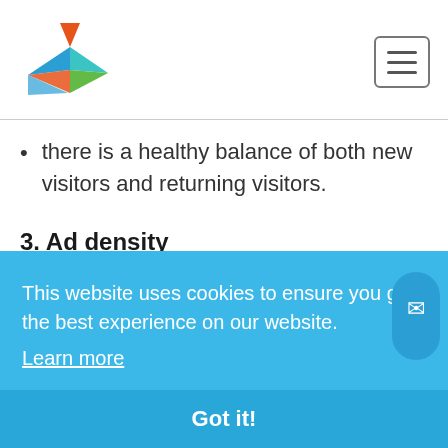there is a healthy balance of both new visitors and returning visitors.
3. Ad density
Unfortunately, the rule "the more the better" is not working if we are talking about the number
This website uses cookies to ensure you get the best experience on our website.
Learn more
Got it!